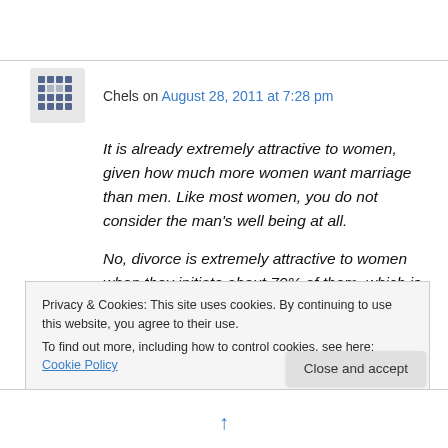Chels on August 28, 2011 at 7:28 pm
It is already extremely attractive to women, given how much more women want marriage than men. Like most women, you do not consider the man's well being at all.
No, divorce is extremely attractive to women when they initiate about 70% of them, which is why I agree with you that it must be made much
Privacy & Cookies: This site uses cookies. By continuing to use this website, you agree to their use.
To find out more, including how to control cookies, see here: Cookie Policy
Close and accept